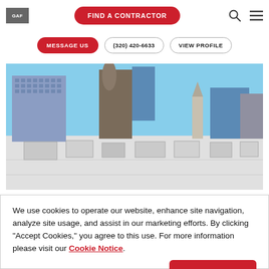GAF - FIND A CONTRACTOR
MESSAGE US  (320) 420-6633  VIEW PROFILE
[Figure (photo): Aerial view of a flat white commercial rooftop with HVAC equipment, with city skyline buildings visible in background under blue sky]
We use cookies to operate our website, enhance site navigation, analyze site usage, and assist in our marketing efforts. By clicking "Accept Cookies," you agree to this use. For more information please visit our Cookie Notice.
Cookie Preferences   Accept Cookies